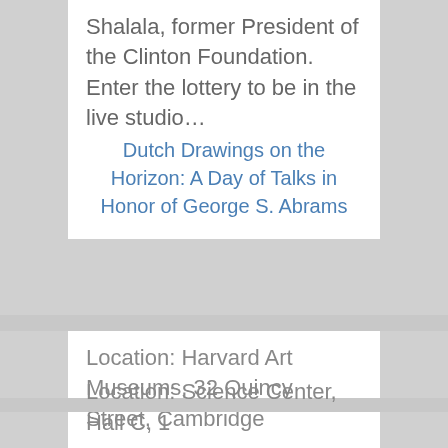Shalala, former President of the Clinton Foundation. Enter the lottery to be in the live studio…
Dutch Drawings on the Horizon: A Day of Talks in Honor of George S. Abrams
Location: Harvard Art Museums, 32 Quincy Street, Cambridge
This symposium brings together international experts on 17th-century Dutch drawings in honor of George S. Abrams (Harvard…
Presidential First Use of Nuclear Weapons: Is it Legal? Is it Constitutional? Is it Just?
Location: Science Center, Hall C, 1